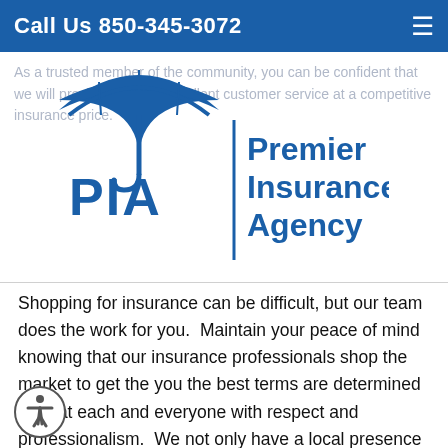Call Us 850-345-3072
As a trusted member of the community, you can be confident that we will provide you with excellent customer service at a competitive insurance price.
[Figure (logo): Premier Insurance Agency logo with PIA text and umbrella icon]
Shopping for insurance can be difficult, but our team does the work for you. Maintain your peace of mind knowing that our insurance professionals shop the market to get the you the best terms are determined to treat each and everyone with respect and professionalism. We not only have a local presence but we are connected with Nationwide Insurance Partners to make sure you are getting the coverage you need. We are a member of Florida Association of Insurance Agents, and a Trusted Choice Registered Agency as well as connected with North Florida Agents Network locally and Strategic Insurance Agents Alliance nationally.